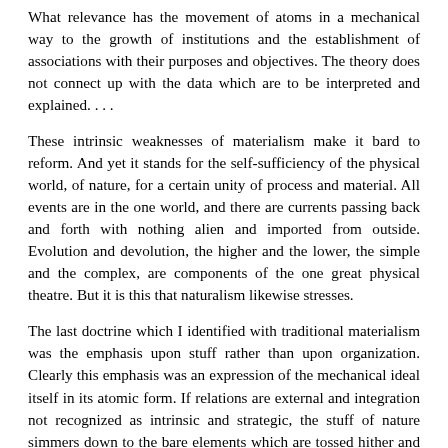What relevance has the movement of atoms in a mechanical way to the growth of institutions and the establishment of associations with their purposes and objectives. The theory does not connect up with the data which are to be interpreted and explained. . . .
These intrinsic weaknesses of materialism make it bard to reform. And yet it stands for the self-sufficiency of the physical world, of nature, for a certain unity of process and material. All events are in the one world, and there are currents passing back and forth with nothing alien and imported from outside. Evolution and devolution, the higher and the lower, the simple and the complex, are components of the one great physical theatre. But it is this that naturalism likewise stresses.
The last doctrine which I identified with traditional materialism was the emphasis upon stuff rather than upon organization. Clearly this emphasis was an expression of the mechanical ideal itself in its atomic form. If relations are external and integration not recognized as intrinsic and strategic, the stuff of nature simmers down to the bare elements which are tossed hither and thither like flotsam and jetsam. Pattern and fibres of connection are ignored; the whole is but the parts or, to put it more exactly, there is no whole. But, as I understand the drift of science and the logic of the facts, integration and organized response are intrinsic to physical things and find expression in behavior and in the energies which